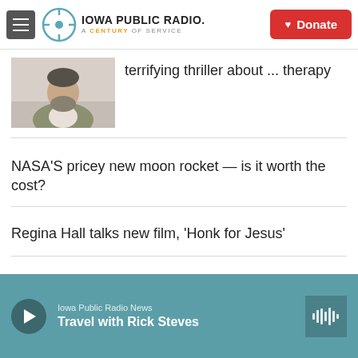Iowa Public Radio. A Century of Service | Donate
[Figure (photo): Photo of a bearded man in a grey sweater]
terrifying thriller about ... therapy
NASA'S pricey new moon rocket — is it worth the cost?
Regina Hall talks new film, 'Honk for Jesus'
Iowa Public Radio News | Travel with Rick Steves